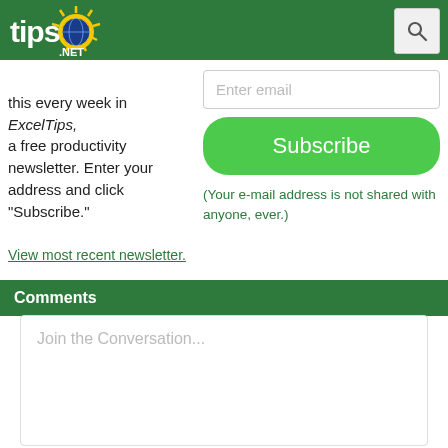tips.NET [logo] [search button]
this every week in ExcelTips, a free productivity newsletter. Enter your address and click "Subscribe."
View most recent newsletter.
Enter email
Subscribe
(Your e-mail address is not shared with anyone, ever.)
Comments
Join the Conversation...